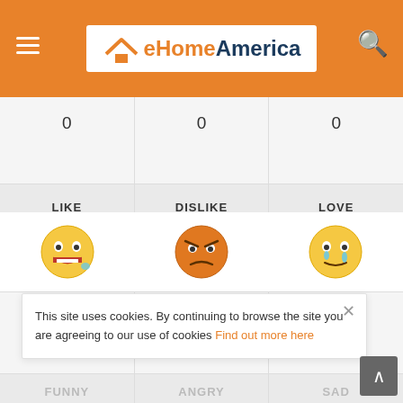eHomeAmerica
| LIKE | DISLIKE | LOVE |
| --- | --- | --- |
| 0 | 0 | 0 |
[Figure (illustration): Three emoji faces: laughing face with tear (LIKE), angry face (DISLIKE), crying face with tears (LOVE)]
| FUNNY | ANGRY | SAD |
| --- | --- | --- |
| 0 | 0 | 0 |
This site uses cookies. By continuing to browse the site you are agreeing to our use of cookies Find out more here